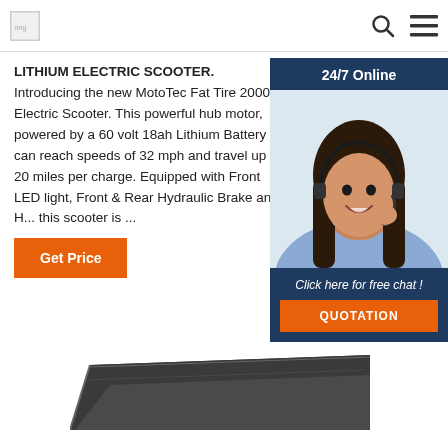logo and navigation icons (search, hamburger menu)
LITHIUM ELECTRIC SCOOTER. Introducing the new MotoTec Fat Tire 2000w Electric Scooter. This powerful hub motor, powered by a 60 volt 18ah Lithium Battery can reach speeds of 32 mph and travel up to 20 miles per charge. Equipped with Front LED light, Front & Rear Hydraulic Brake and H... this scooter is ...
Get Price
[Figure (photo): Chat widget overlay with 24/7 Online header, photo of a smiling woman with headset, text 'Click here for free chat!', and orange QUOTATION button]
[Figure (photo): Partial image of MotoTec electric scooter deck/board at bottom of page]